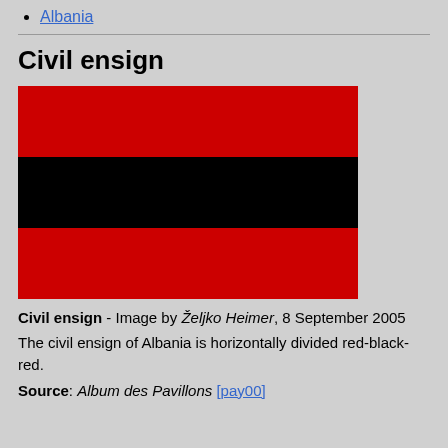Albania
Civil ensign
[Figure (illustration): Flag of Albania civil ensign: horizontally divided red-black-red stripes]
Civil ensign - Image by Željko Heimer, 8 September 2005
The civil ensign of Albania is horizontally divided red-black-red.
Source: Album des Pavillons [pay00]